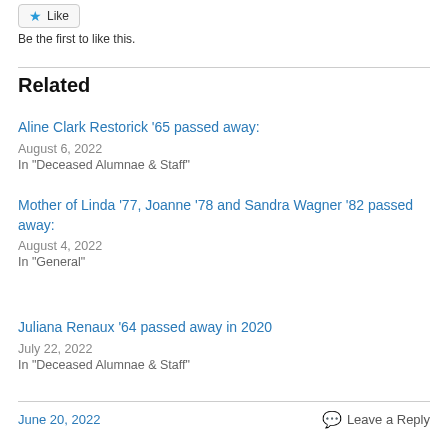[Figure (other): Like button with blue star icon]
Be the first to like this.
Related
Aline Clark Restorick ’65 passed away:
August 6, 2022
In “Deceased Alumnae & Staff”
Mother of Linda ’77, Joanne ’78 and Sandra Wagner ’82 passed away:
August 4, 2022
In “General”
Juliana Renaux ’64 passed away in 2020
July 22, 2022
In “Deceased Alumnae & Staff”
June 20, 2022
Leave a Reply